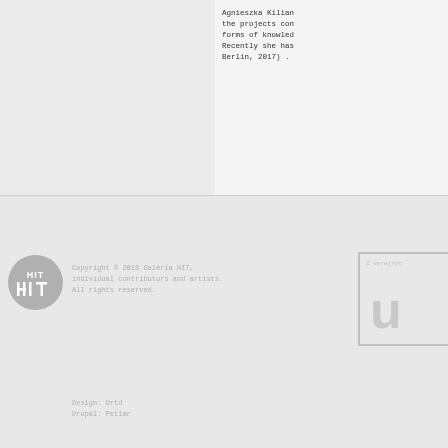Agnieszka Kilian the projects con forms of knowled Recently she has Berlin, 2017) .
[Figure (logo): HIT gallery circular logo with HIT letters in white on grey background]
Copyright © 2018 Galéria HIT, individual contributors and artists. All rights reserved.
[Figure (logo): Z verejnych logo with large letter u in grey border box]
Design: Urtd
Drupal: Petiar